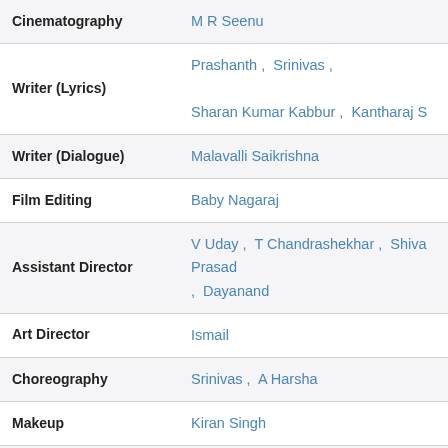| Role | Person(s) |
| --- | --- |
| Cinematography | M R Seenu |
| Writer (Lyrics) | Prashanth , Srinivas , Sharan Kumar Kabbur , Kantharaj S |
| Writer (Dialogue) | Malavalli Saikrishna |
| Film Editing | Baby Nagaraj |
| Assistant Director | V Uday , T Chandrashekhar , Shiva Prasad , Dayanand |
| Art Director | Ismail |
| Choreography | Srinivas , A Harsha |
| Makeup | Kiran Singh |
|  | Udit Narayan , S P Balasubrahmanyam , |